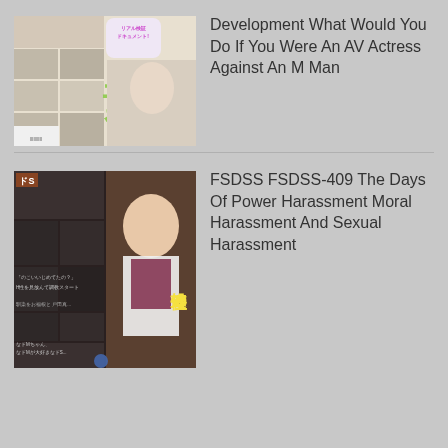[Figure (photo): DVD cover art for Japanese AV title, colorful collage with Japanese text including 素顔 and various photos]
Development What Would You Do If You Were An AV Actress Against An M Man
[Figure (photo): DVD cover art for FSDSS-409, Japanese AV title featuring a woman in office attire with Japanese text 性処理管理]
FSDSS FSDSS-409 The Days Of Power Harassment Moral Harassment And Sexual Harassment